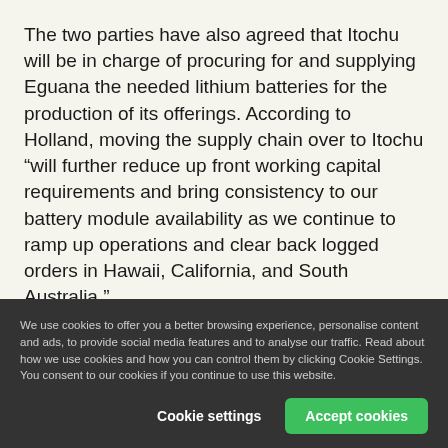The two parties have also agreed that Itochu will be in charge of procuring for and supplying Eguana the needed lithium batteries for the production of its offerings. According to Holland, moving the supply chain over to Itochu “will further reduce up front working capital requirements and bring consistency to our battery module availability as we continue to ramp up operations and clear back logged orders in Hawaii, California, and South Australia.”
(CAD 1.0 = USD 0.718/EUR 0.645)
We use cookies to offer you a better browsing experience, personalise content and ads, to provide social media features and to analyse our traffic. Read about how we use cookies and how you can control them by clicking Cookie Settings. You consent to our cookies if you continue to use this website.